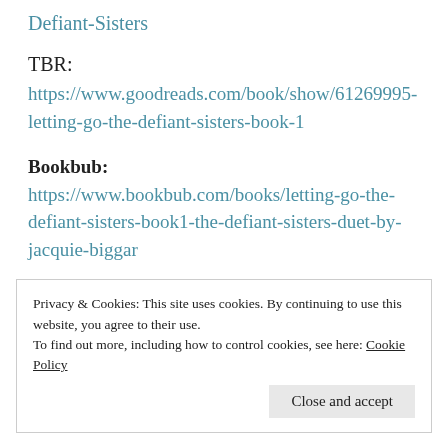Defiant-Sisters
TBR:
https://www.goodreads.com/book/show/61269995-letting-go-the-defiant-sisters-book-1
Bookbub: https://www.bookbub.com/books/letting-go-the-defiant-sisters-book1-the-defiant-sisters-duet-by-jacquie-biggar
Privacy & Cookies: This site uses cookies. By continuing to use this website, you agree to their use.
To find out more, including how to control cookies, see here: Cookie Policy
Close and accept
bows with the weight of the old town's worries on its